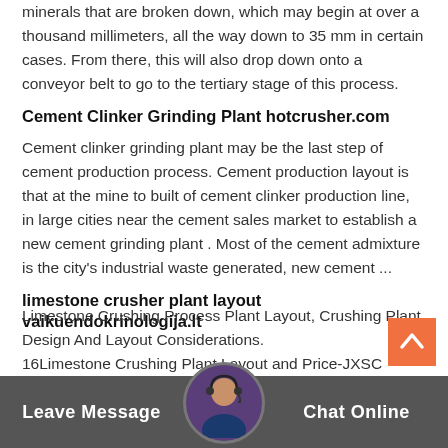minerals that are broken down, which may begin at over a thousand millimeters, all the way down to 35 mm in certain cases. From there, this will also drop down onto a conveyor belt to go to the tertiary stage of this process.
Cement Clinker Grinding Plant hotcrusher.com
Cement clinker grinding plant may be the last step of cement production process. Cement production layout is that at the mine to built of cement clinker production line, in large cities near the cement sales market to establish a new cement grinding plant . Most of the cement admixture is the city's industrial waste generated, new cement ...
limestone crusher plant layout vaikuendokrinologija.lt
Limestone Crushing Process Plant Layout, Crushing Plant Design And Layout Considerations. Chat Online 16Limestone Crushing Plant Layout and Price-JXSC